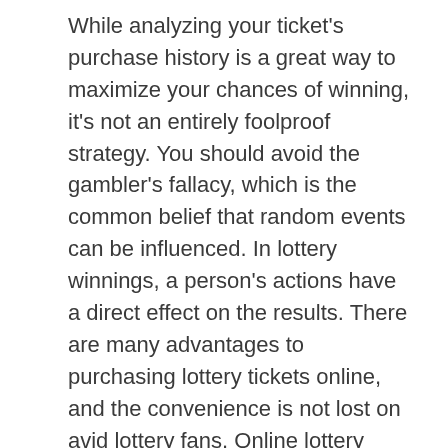While analyzing your ticket's purchase history is a great way to maximize your chances of winning, it's not an entirely foolproof strategy. You should avoid the gambler's fallacy, which is the common belief that random events can be influenced. In lottery winnings, a person's actions have a direct effect on the results. There are many advantages to purchasing lottery tickets online, and the convenience is not lost on avid lottery fans. Online lottery ticket sales offer an increased revenue stream, but some anti-gambling groups have been opposed to expansion. While online lottery sales haven't yet killed retail lottery sales, the proliferation of online gambling has not eroded the market for physical lottery tickets. The spread of sports betting has also normalized online gambling and is expected to have little impact on sales of lottery tickets in the future.
While joining an official lottery website is perfectly legal and safe, many people prefer to play the lottery